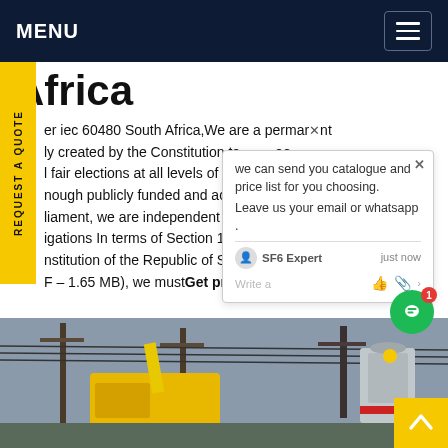MENU
Africa
er iec 60480 South Africa,We are a permanent ly created by the Constitution to ee fair elections at all levels of gov ntough publicly funded and accou liament, we are independent of t ne. igations In terms of Section 1 c nstitution of the Republic of South F - 1.65 MB), we mustGet price
[Figure (screenshot): Chat popup with text: we can send you catalogue and price list for you choosing. Leave us your email or whatsapp. SF6 Expert, just now. Write a message input field.]
[Figure (photo): Photo of electrical power infrastructure with utility poles, yellow equipment vehicle, and transformers against a grey sky.]